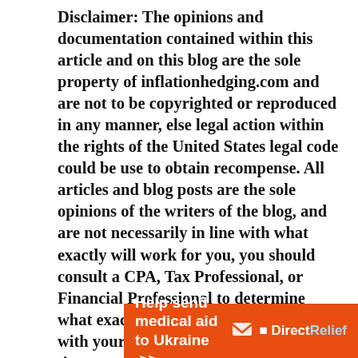Disclaimer: The opinions and documentation contained within this article and on this blog are the sole property of inflationhedging.com and are not to be copyrighted or reproduced in any manner, else legal action within the rights of the United States legal code could be use to obtain recompense. All articles and blog posts are the sole opinions of the writers of the blog, and are not necessarily in line with what exactly will work for you, you should consult a CPA, Tax Professional, or Financial Professional to determine what exact financial needs are in line with your interests. Also, from time to time, certain links on this website will be used to generate affiliate commissions, in order to support the health and
[Figure (infographic): Orange advertisement banner reading 'Help send medical aid to Ukraine >>' with Direct Relief logo on the right side]